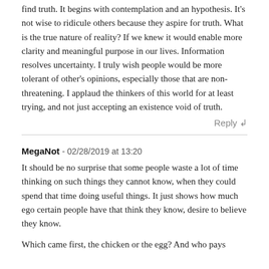find truth. It begins with contemplation and an hypothesis. It's not wise to ridicule others because they aspire for truth. What is the true nature of reality? If we knew it would enable more clarity and meaningful purpose in our lives. Information resolves uncertainty. I truly wish people would be more tolerant of other's opinions, especially those that are non-threatening. I applaud the thinkers of this world for at least trying, and not just accepting an existence void of truth.
Reply ↲
MegaNot - 02/28/2019 at 13:20
It should be no surprise that some people waste a lot of time thinking on such things they cannot know, when they could spend that time doing useful things. It just shows how much ego certain people have that think they know, desire to believe they know.
Which came first, the chicken or the egg? And who pays